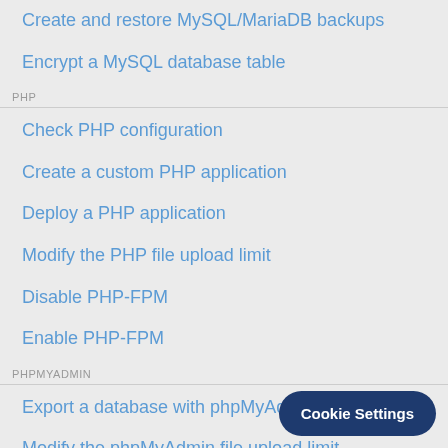Create and restore MySQL/MariaDB backups
Encrypt a MySQL database table
PHP
Check PHP configuration
Create a custom PHP application
Deploy a PHP application
Modify the PHP file upload limit
Disable PHP-FPM
Enable PHP-FPM
PHPMYADMIN
Export a database with phpMyAdmin
Modify the phpMyAdmin file upload limit
Modify the phpMyAdmin script execution time
VARNISH
Configure and use Varnish(TM)
Cookie Settings